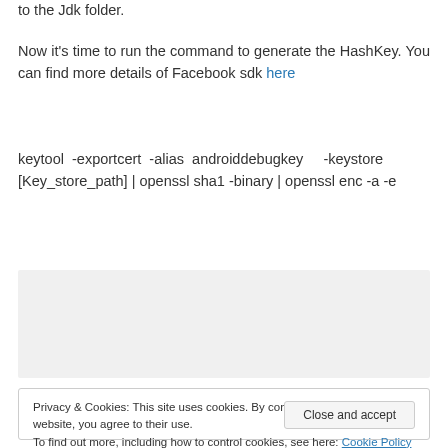to the Jdk folder.
Now it's time to run the command to generate the HashKey. You can find more details of Facebook sdk here
keytool -exportcert -alias androiddebugkey -keystore [Key_store_path] | openssl sha1 -binary | openssl enc -a -e
[Figure (screenshot): Gray empty box, likely a screenshot or image placeholder]
Privacy & Cookies: This site uses cookies. By continuing to use this website, you agree to their use. To find out more, including how to control cookies, see here: Cookie Policy
Close and accept